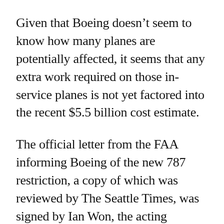Given that Boeing doesn't seem to know how many planes are potentially affected, it seems that any extra work required on those in-service planes is not yet factored into the recent $5.5 billion cost estimate.
The official letter from the FAA informing Boeing of the new 787 restriction, a copy of which was reviewed by The Seattle Times, was signed by Ian Won, the acting manager for aviation safety in the FAA's local office that oversees Boeing.
The letter states that before the 787 airworthiness inspections can be delegated back to Boeing, the manufacturer will have to show some objective...